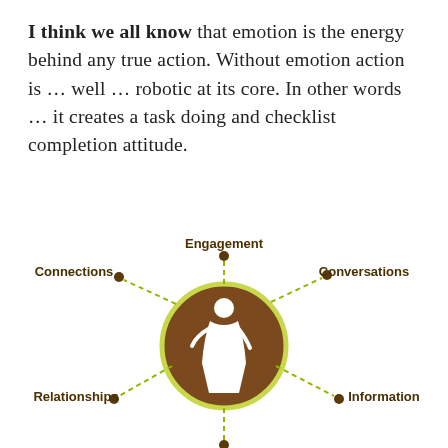I think we all know that emotion is the energy behind any true action. Without emotion action is … well … robotic at its core. In other words … it creates a task doing and checklist completion attitude.
[Figure (infographic): A radial diagram with a brown circle in the center containing a white female figure icon. Six dashed lines radiate outward from the circle to labeled nodes (dots): Engagement (top), Conversations (upper right), Information (lower right), Relationships (lower left), Connections (upper left), and one node partially visible at the bottom.]